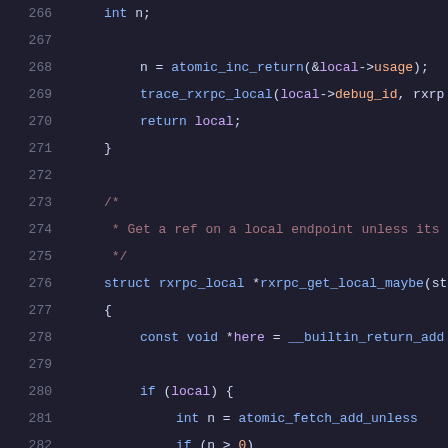[Figure (screenshot): Source code listing showing C code lines 266-286, displaying functions for managing rxrpc local endpoints with atomic operations. Dark theme code editor with syntax highlighting. Lines include: int n declaration, atomic_inc_return, trace_rxrpc_local, return local, closing brace, comment block about getting ref on local endpoint, struct rxrpc_local *rxrpc_get_local_maybe function signature, const void *here = __builtin_return_add, if (local) block with int n = atomic_fetch_add_unless, if (n > 0), trace_rxrpc_local(local-, n + 1, else, local = NULL.]